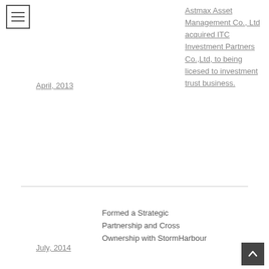April, 2013
Astmax Asset Management Co., Ltd acquired ITC Investment Partners Co.,Ltd, to being licesed to investment trust business.
July, 2014
Formed a Strategic Partnership and Cross Ownership with StormHarbour